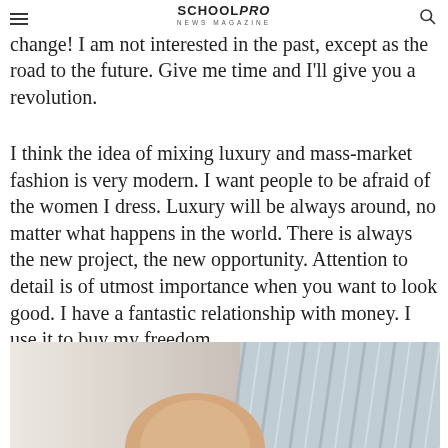SchoolPRO NEWS MAGAZINE
contrast; life today is full of contrasts. I have to change! I am not interested in the past, except as the road to the future. Give me time and I'll give you a revolution.
I think the idea of mixing luxury and mass-market fashion is very modern. I want people to be afraid of the women I dress. Luxury will be always around, no matter what happens in the world. There is always the new project, the new opportunity. Attention to detail is of utmost importance when you want to look good. I have a fantastic relationship with money. I use it to buy my freedom.
[Figure (photo): Close-up photo of fabric/clothing with a hand visible, showing white cloth on the left and striped fabric on the right]